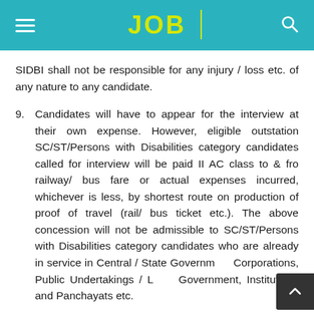JOB
SIDBI shall not be responsible for any injury / loss etc. of any nature to any candidate.
9. Candidates will have to appear for the interview at their own expense. However, eligible outstation SC/ST/Persons with Disabilities category candidates called for interview will be paid II AC class to & fro railway/ bus fare or actual expenses incurred, whichever is less, by shortest route on production of proof of travel (rail/ bus ticket etc.). The above concession will not be admissible to SC/ST/Persons with Disabilities category candidates who are already in service in Central / State Government, Corporations, Public Undertakings / Local Government, Institutions and Panchayats etc.